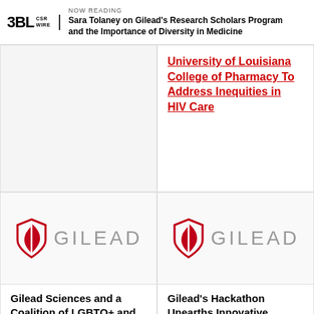NOW READING: Sara Tolaney on Gilead's Research Scholars Program and the Importance of Diversity in Medicine
[Figure (photo): Blank/white image placeholder for article card top-left]
University of Louisiana College of Pharmacy To Address Inequities in HIV Care
[Figure (logo): Gilead Sciences logo with red shield/leaf icon and GILEAD text in gray]
Gilead Sciences and a Coalition of LGBTQ+ and Human Rights-Focused Organizations Mobiliz...
[Figure (logo): Gilead Sciences logo with red shield/leaf icon and GILEAD text in gray]
Gilead's Hackathon Unearths Innovative Ways To Improve HIV Prevention...